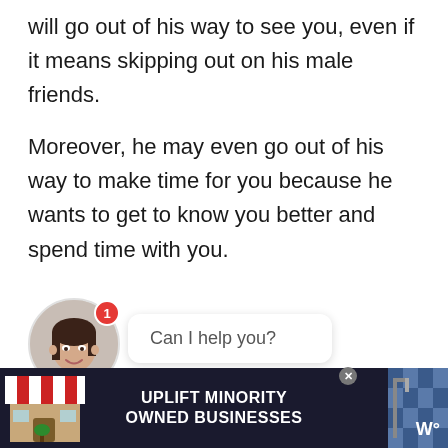will go out of his way to see you, even if it means skipping out on his male friends.
Moreover, he may even go out of his way to make time for you because he wants to get to know you better and spend time with you.
[Figure (other): Chat widget with circular avatar photo of a smiling woman with long dark hair, a red notification badge showing '1', and a speech bubble saying 'Can I help you?']
[Figure (other): Advertisement banner with dark background showing a storefront illustration and the text 'UPLIFT MINORITY OWNED BUSINESSES' with a close button and logo]